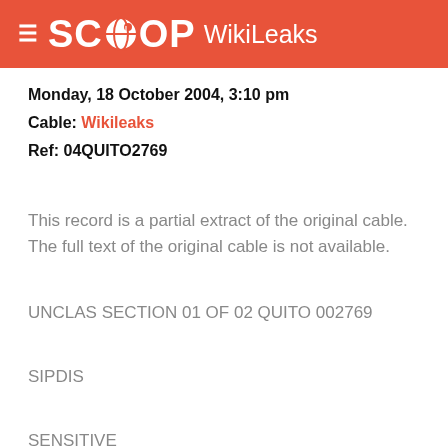SCOOP WikiLeaks
Monday, 18 October 2004, 3:10 pm
Cable: Wikileaks
Ref: 04QUITO2769
This record is a partial extract of the original cable. The full text of the original cable is not available.
UNCLAS SECTION 01 OF 02 QUITO 002769
SIPDIS
SENSITIVE